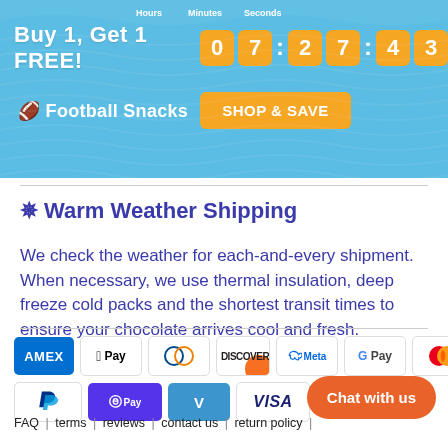[Figure (screenshot): Promotional banner with blue wavy background showing 'Buy 1, Get 1 FREE!' with countdown timer showing 07:27:43 and Football Snacks text with SHOP & SAVE button]
✵ Warm Weather Shipping
We check the weather for each-and-every shipment. When necessary, we use thermal insulation, deep freeze cold packs and the shortest transit times to ensure your chocolate arrives cool and fresh.
[Figure (other): Payment method icons: AMEX, Apple Pay, Diners Club, Discover, Meta, Google Pay, Mastercard, PayPal, Shop Pay, Venmo, Visa]
[Figure (other): Orange 'Chat with us' button]
FAQ | terms | reviews | contact us | return policy |